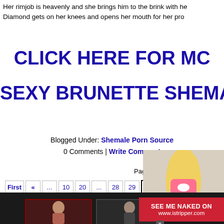Her rimjob is heavenly and she brings him to the brink with he... Diamond gets on her knees and opens her mouth for her pro...
CLICK HERE FOR MC...
SEXY BRUNETTE SHEMAL...
Blogged Under: Shemale Porn Source... 0 Comments | Write Comment
Page 30 of 5...
First « ... 10 20 ... 28 29 30 ... 40
[Figure (photo): Blonde woman in pink outfit promotional image]
[Figure (photo): Dark background with two thumbnail images of women and istripper.com advertisement badge]